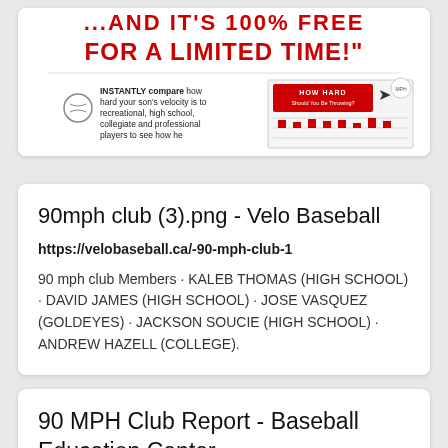[Figure (screenshot): Advertisement image with red text 'FOR A LIMITED TIME!' and a promotional baseball velocity comparison graphic with text 'INSTANTLY compare how hard your son's velocity is to recreational, high school, collegiate and professional players to see how he' and a 'HOW HARD' branded image.]
90mph club (3).png - Velo Baseball
https://velobaseball.ca/-90-mph-club-1
90 mph club Members · KALEB THOMAS (HIGH SCHOOL) · DAVID JAMES (HIGH SCHOOL) · JOSE VASQUEZ (GOLDEYES) · JACKSON SOUCIE (HIGH SCHOOL) · ANDREW HAZELL (COLLEGE).
90 MPH Club Report - Baseball Education Center